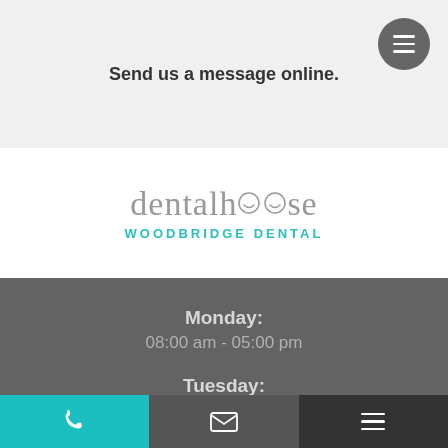Send us a message online.
[Figure (logo): dentalhouse WOODBRIDGE DENTAL logo — 'dental' in gray serif lowercase, 'house' in gray serif with smile icon for double-o, 'WOODBRIDGE DENTAL' in teal caps below]
Monday:
08:00 am - 05:00 pm
Tuesday:
08:00 am - 07:00 pm